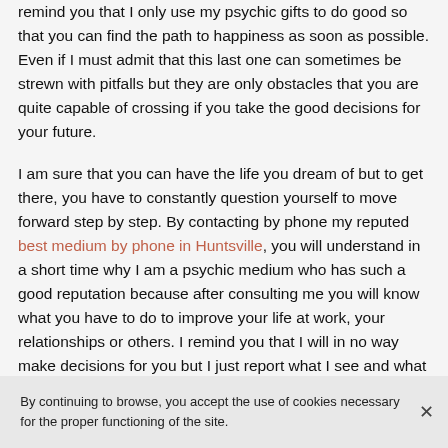remind you that I only use my psychic gifts to do good so that you can find the path to happiness as soon as possible. Even if I must admit that this last one can sometimes be strewn with pitfalls but they are only obstacles that you are quite capable of crossing if you take the good decisions for your future.
I am sure that you can have the life you dream of but to get there, you have to constantly question yourself to move forward step by step. By contacting by phone my reputed best medium by phone in Huntsville, you will understand in a short time why I am a psychic medium who has such a good reputation because after consulting me you will know what you have to do to improve your life at work, your relationships or others. I remind you that I will in no way make decisions for you but I just report what I see and what the tarot cards tell me in relation to your
By continuing to browse, you accept the use of cookies necessary for the proper functioning of the site.